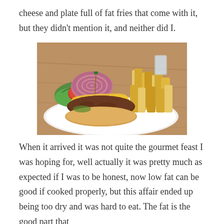cheese and plate full of fat fries that come with it, but they didn't mention it, and neither did I.
[Figure (photo): A plate with a cheeseburger topped with melted yellow cheese, red onion, tomato, lettuce, and pickle, served with a side of thick-cut french fries on a white plate, placed on a wooden table.]
When it arrived it was not quite the gourmet feast I was hoping for, well actually it was pretty much as expected if I was to be honest, now low fat can be good if cooked properly, but this affair ended up being too dry and was hard to eat. The fat is the good part that